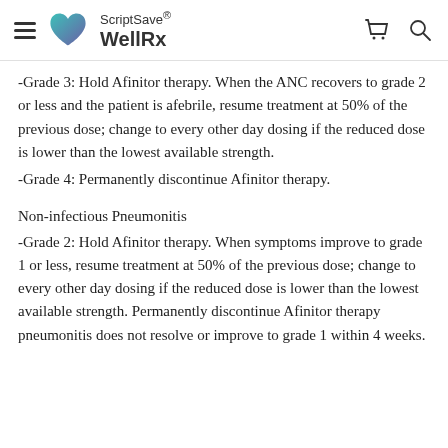ScriptSave® WellRx
-Grade 3: Hold Afinitor therapy. When the ANC recovers to grade 2 or less and the patient is afebrile, resume treatment at 50% of the previous dose; change to every other day dosing if the reduced dose is lower than the lowest available strength.
-Grade 4: Permanently discontinue Afinitor therapy.
Non-infectious Pneumonitis
-Grade 2: Hold Afinitor therapy. When symptoms improve to grade 1 or less, resume treatment at 50% of the previous dose; change to every other day dosing if the reduced dose is lower than the lowest available strength. Permanently discontinue Afinitor therapy pneumonitis does not resolve or improve to grade 1 within 4 weeks.